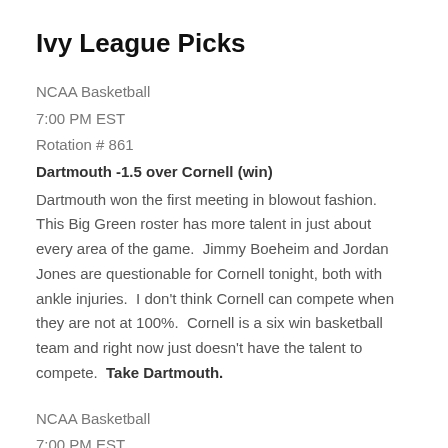Ivy League Picks
NCAA Basketball
7:00 PM EST
Rotation # 861
Dartmouth -1.5 over Cornell (win)
Dartmouth won the first meeting in blowout fashion.   This Big Green roster has more talent in just about every area of the game.  Jimmy Boeheim and Jordan Jones are questionable for Cornell tonight, both with ankle injuries.  I don't think Cornell can compete when they are not at 100%.  Cornell is a six win basketball team and right now just doesn't have the talent to compete.  Take Dartmouth.
NCAA Basketball
7:00 PM EST
Rotation # 868
Brown -1 over Princeton (loss)